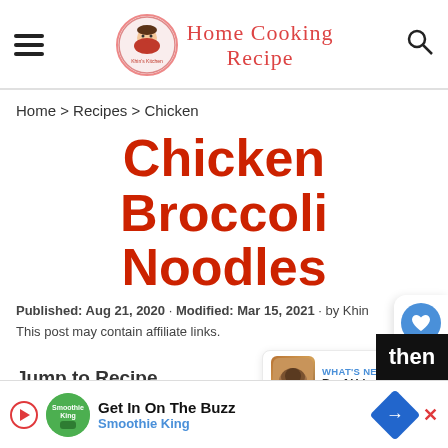HOME COOKING RECIPE
Home > Recipes > Chicken
Chicken Broccoli Noodles
Published: Aug 21, 2020 · Modified: Mar 15, 2021 · by Khin
This post may contain affiliate links.
Jump to Recipe
WHAT'S NEXT → Beef Udon Stir Fry
Get In On The Buzz
Smoothie King